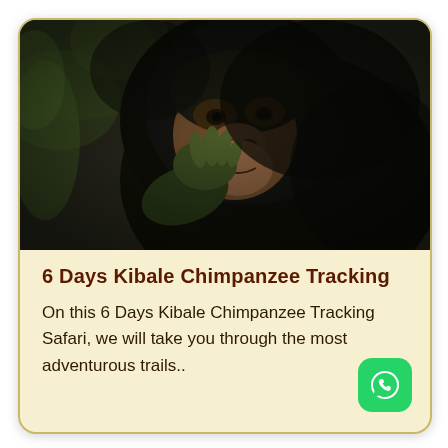[Figure (photo): Close-up photograph of a chimpanzee with dark fur, resting its chin on its hand in a thoughtful pose, with green foliage blurred in the background.]
6 Days Kibale Chimpanzee Tracking
On this 6 Days Kibale Chimpanzee Tracking Safari, we will take you through the most adventurous trails..